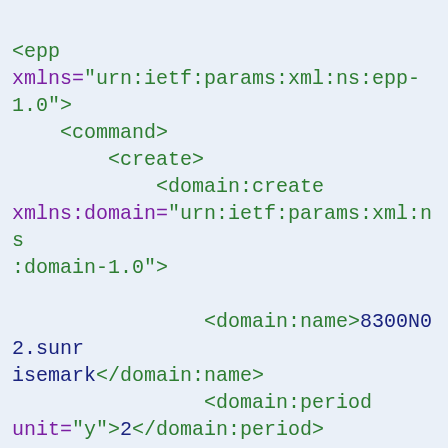<epp xmlns="urn:ietf:params:xml:ns:epp-1.0">  <command>    <create>      <domain:create xmlns:domain="urn:ietf:params:xml:ns:domain-1.0">        <domain:name>8300N02.sunrisemark</domain:name>        <domain:period unit="y">2</domain:period>        <domain:registrant>abcd1234</domain:registrant>        <domain:contact type="admin">abcd1234</domain:contact